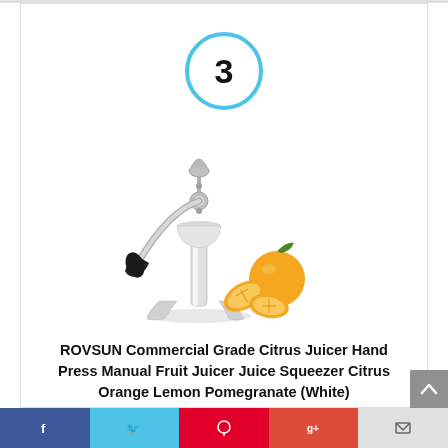[Figure (other): Rank badge: a circle with the number 3 inside, outlined in sky blue]
[Figure (photo): ROVSUN manual citrus juicer with white body, black handle, chrome press arm, and two orange halves beside it]
ROVSUN Commercial Grade Citrus Juicer Hand Press Manual Fruit Juicer Juice Squeezer Citrus Orange Lemon Pomegranate (White)
[Figure (other): Bottom social sharing bar with Facebook, Twitter, Pinterest, Google+, and Email segments]